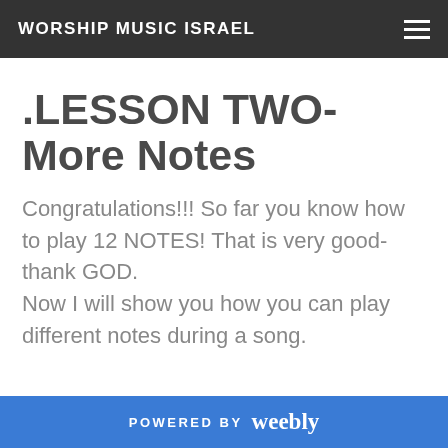WORSHIP MUSIC ISRAEL
.LESSON TWO- More Notes
Congratulations!!! So far you know how to play 12 NOTES! That is very good- thank GOD.
Now I will show you how you can play different notes during a song.
POWERED BY weebly